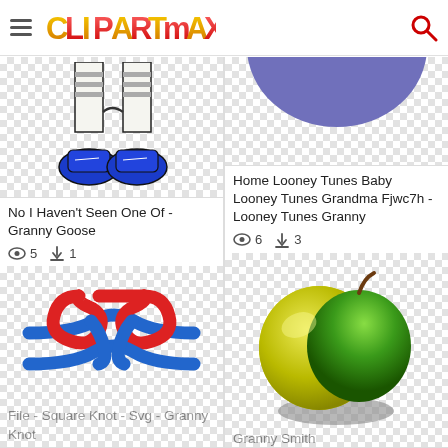ClipArtMax
[Figure (illustration): Granny Goose cartoon legs wearing blue slippers/shoes on checkered background]
No I Haven't Seen One Of - Granny Goose
👁 5  ⬇ 1
[Figure (illustration): Square knot SVG illustration with red and blue interlocking rope strands on checkered background]
File - Square Knot - Svg - Granny Knot
[Figure (illustration): Partial purple circle shape on checkered background - Looney Tunes Granny]
Home Looney Tunes Baby Looney Tunes Grandma Fjwc7h - Looney Tunes Granny
👁 6  ⬇ 3
[Figure (illustration): 3D rendered green and yellow Granny Smith apple with shadow on checkered background]
Granny Smith